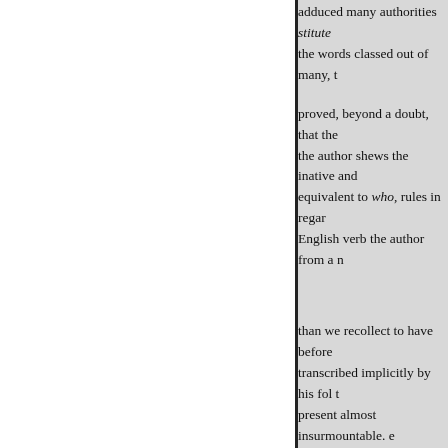adduced many authorities stitute the words classed out of many, t proved, beyond a doubt, that the the author shews the inative and equivalent to who, rules in regard English verb the author from a n than we recollect to have before transcribed implicitly by his fol present almost insurmountable. e mankind." The examples already English Grammars have hitherto " There are fishes that have wi upsions." Locke, b. 3. If the rule the author attempts 10 widest ser "When ye shall see' Jerusalem what is called the present is armi What! all signs?" Nation the arg How the rule vanishes would confidently recommend b